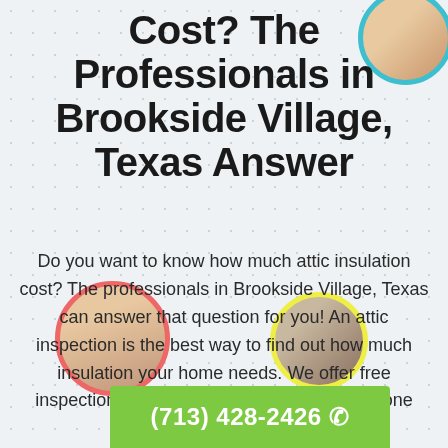Cost? The Professionals in Brookside Village, Texas Answer
Do you want to know how much attic insulation cost? The professionals in Brookside Village, Texas can answer that question for you! An attic inspection is the best way to find out how much insulation your home needs. We offer free inspections, so there's no reason not to get one today.
(713) 428-2426